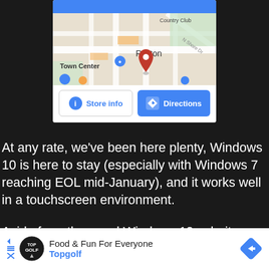[Figure (screenshot): Google Maps screenshot showing Renton town center area with a red location pin, embedded in a white card. Below the map are two buttons: 'Store info' (outlined, blue text with info icon) and 'Directions' (solid blue with arrow icon).]
At any rate, we've been here plenty, Windows 10 is here to stay (especially with Windows 7 reaching EOL mid-January), and it works well in a touchscreen environment.
Aside from the usual Windows 10 culprits, ThinkPad L390 also comes with Lenovo Vantage pre-installed.
[Figure (screenshot): Advertisement banner for Topgolf: 'Food & Fun For Everyone' with Topgolf logo and a blue diamond direction arrow icon.]